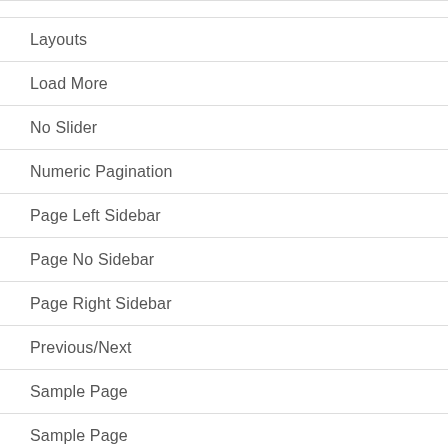Layouts
Load More
No Slider
Numeric Pagination
Page Left Sidebar
Page No Sidebar
Page Right Sidebar
Previous/Next
Sample Page
Sample Page